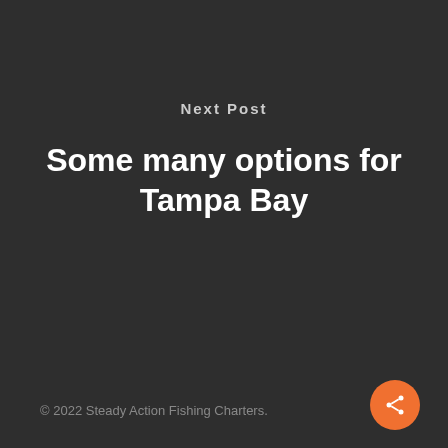Next Post
Some many options for Tampa Bay
© 2022 Steady Action Fishing Charters.